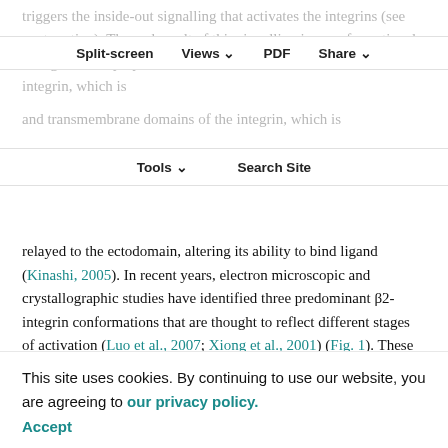triggers the inside-out signalling that activates the integrins (see next section). The end result of this signalling is a conformational change of the cytoplasmic and transmembrane domains of the integrin, which is
Split-screen | Views | PDF | Share | Tools | Search Site
relayed to the ectodomain, altering its ability to bind ligand (Kinashi, 2005). In recent years, electron microscopic and crystallographic studies have identified three predominant β2-integrin conformations that are thought to reflect different stages of activation (Luo et al., 2007; Xiong et al., 2001) (Fig. 1). These are the bent form, the extended form with a closed ligand-binding head that is of intermediate affinity (Box 1) for ligand, and the extended form in which the hybrid domain has swung out, enabling the ligand-
This site uses cookies. By continuing to use our website, you are agreeing to our privacy policy. Accept